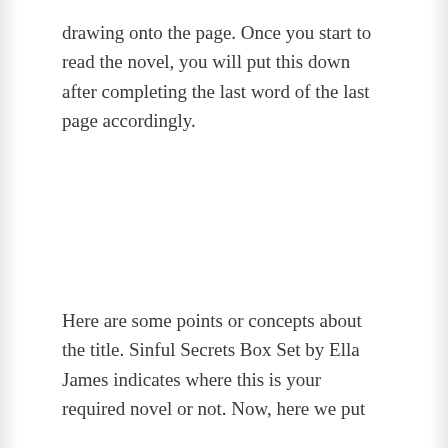drawing onto the page. Once you start to read the novel, you will put this down after completing the last word of the last page accordingly.
Here are some points or concepts about the title. Sinful Secrets Box Set by Ella James indicates where this is your required novel or not. Now, here we put